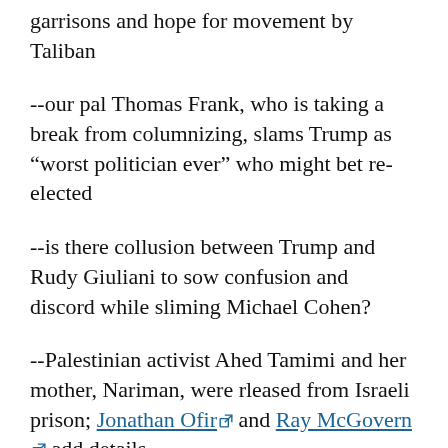garrisons and hope for movement by Taliban
--our pal Thomas Frank, who is taking a break from columnizing, slams Trump as “worst politician ever” who might bet re-elected
--is there collusion between Trump and Rudy Giuliani to sow confusion and discord while sliming Michael Cohen?
--Palestinian activist Ahed Tamimi and her mother, Nariman, were rleased from Israeli prison; Jonathan Ofir and Ray McGovern add details
--Israel intercepted the latest Gaza Freedom boat yesterday